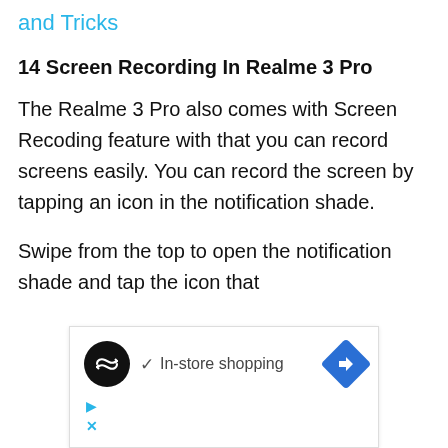and Tricks
14 Screen Recording In Realme 3 Pro
The Realme 3 Pro also comes with Screen Recoding feature with that you can record screens easily. You can record the screen by tapping an icon in the notification shade.
Swipe from the top to open the notification shade and tap the icon that
[Figure (screenshot): Advertisement banner showing a circular black logo with a looping arrows icon, a checkmark with 'In-store shopping' text, a blue diamond-shaped arrow navigation icon, and small cyan play/close icons at the bottom left.]